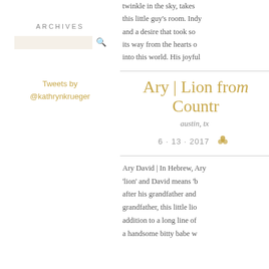ARCHIVES
Tweets by @kathrynkrueger
twinkle in the sky, takes care of this little guy's room. Indy and a desire that took so its way from the hearts of into this world. His joyful
Ary | Lion from Countr
austin, tx
6 · 13 · 2017
Ary David | In Hebrew, Ary means 'lion' and David means 'b after his grandfather and grandfather, this little lio addition to a long line of a handsome bitty babe w